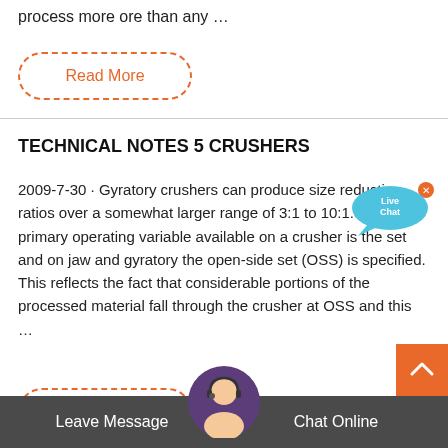process more ore than any …
[Figure (other): Read More button with dashed orange border]
TECHNICAL NOTES 5 CRUSHERS
2009-7-30 · Gyratory crushers can produce size reduction ratios over a somewhat larger range of 3:1 to 10:1. The primary operating variable available on a crusher is the set and on jaw and gyratory the open-side set (OSS) is specified. This reflects the fact that considerable portions of the processed material fall through the crusher at OSS and this …
[Figure (other): Read More button with dashed orange border]
[Figure (other): Live Chat speech bubble icon in blue]
[Figure (other): Scroll-to-top chevron button in orange]
[Figure (other): Customer service agent avatar circle at bottom]
Leave Message   Chat Online